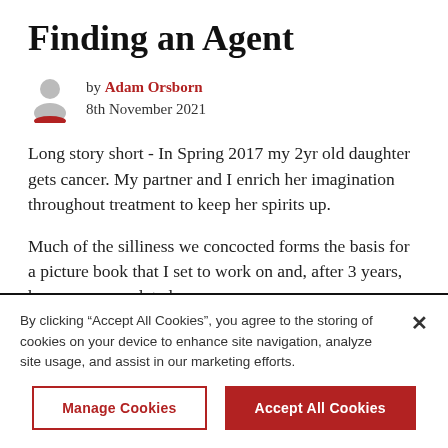Finding an Agent
by Adam Orsborn
8th November 2021
Long story short - In Spring 2017 my 2yr old daughter gets cancer. My partner and I enrich her imagination throughout treatment to keep her spirits up.
Much of the silliness we concocted forms the basis for a picture book that I set to work on and, after 3 years, have now completed.
By clicking “Accept All Cookies”, you agree to the storing of cookies on your device to enhance site navigation, analyze site usage, and assist in our marketing efforts.
Manage Cookies
Accept All Cookies